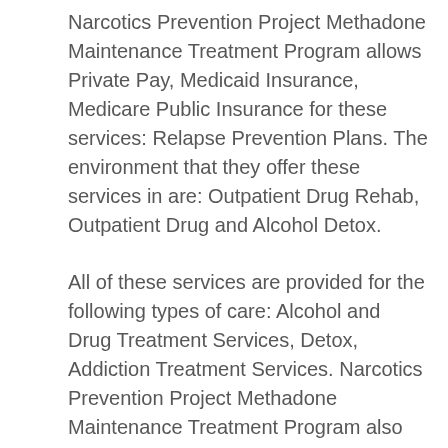Narcotics Prevention Project Methadone Maintenance Treatment Program allows Private Pay, Medicaid Insurance, Medicare Public Insurance for these services: Relapse Prevention Plans. The environment that they offer these services in are: Outpatient Drug Rehab, Outpatient Drug and Alcohol Detox.
All of these services are provided for the following types of care: Alcohol and Drug Treatment Services, Detox, Addiction Treatment Services. Narcotics Prevention Project Methadone Maintenance Treatment Program also provides a number of special programs such as: Addiction Treatment for Lesbian, Gay, Bisexual, Or Transgender (LGBT) Clients, Drug and Alcohol Treatment